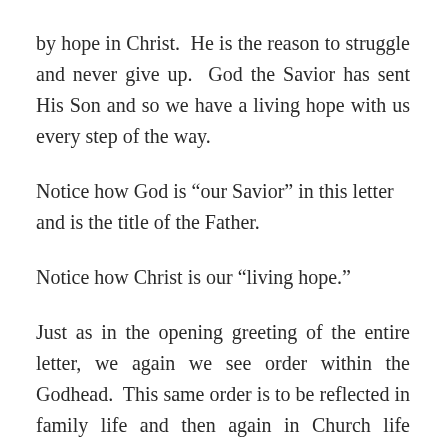by hope in Christ.  He is the reason to struggle and never give up.  God the Savior has sent His Son and so we have a living hope with us every step of the way.
Notice how God is “our Savior” in this letter and is the title of the Father.
Notice how Christ is our “living hope.”
Just as in the opening greeting of the entire letter, we again we see order within the Godhead.  This same order is to be reflected in family life and then again in Church life which is